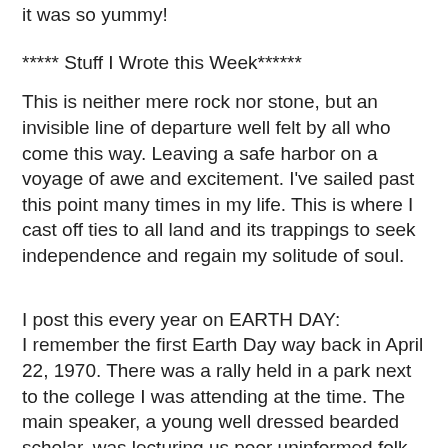it was so yummy!
***** Stuff I Wrote this Week******
This is neither mere rock nor stone, but an invisible line of departure well felt by all who come this way. Leaving a safe harbor on a voyage of awe and excitement. I've sailed past this point many times in my life. This is where I cast off ties to all land and its trappings to seek independence and regain my solitude of soul.
I post this every year on EARTH DAY:
I remember the first Earth Day way back in April 22, 1970. There was a rally held in a park next to the college I was attending at the time. The main speaker, a young well dressed bearded scholar, was lecturing us poor uninformed folk about how